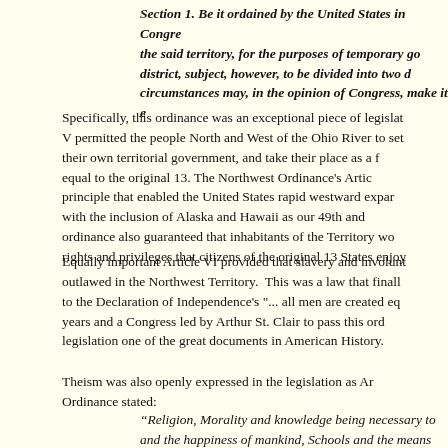Section 1. Be it ordained by the United States in Congress assembled, That the said territory, for the purposes of temporary government, be one district, subject, however, to be divided into two districts, as future circumstances may, in the opinion of Congress, make it expedient.
Specifically, this ordinance was an exceptional piece of legislation. Article V permitted the people North and West of the Ohio River to set up their own territorial government, and take their place as a full state equal to the original 13. The Northwest Ordinance's Article V was the principle that enabled the United States rapid westward expansion ending with the inclusion of Alaska and Hawaii as our 49th and 50th states. The ordinance also guaranteed that inhabitants of the Territory would enjoy all rights and privileges that citizens of the original 13 States enjoyed.
Equally important Article VI provided that slavery and involuntary servitude be outlawed in the Northwest Territory. This was a law that finally gave meaning to the Declaration of Independence's "... all men are created equal." It took years and a Congress led by Arthur St. Clair to pass this ordinance making this legislation one of the great documents in American History.
Theism was also openly expressed in the legislation as Article III of the Ordinance stated:
“Religion, Morality and knowledge being necessary to good government and the happiness of mankind, Schools and the means of education shall forever be encouraged.”